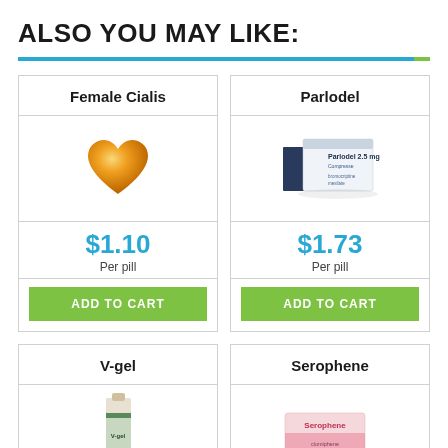ALSO YOU MAY LIKE:
[Figure (infographic): Product card for Female Cialis showing heart-shaped orange pill image, price $1.10 per pill, and ADD TO CART button]
[Figure (photo): Product card for Parlodel showing medication box image, price $1.73 per pill, and ADD TO CART button]
[Figure (photo): Product card for V-gel showing tube image, partially visible]
[Figure (photo): Product card for Serophene showing box image, partially visible]